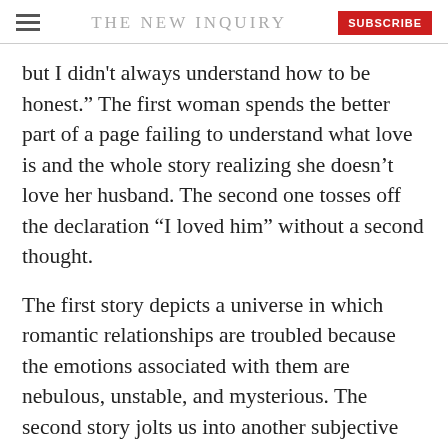THE NEW INQUIRY
but I didn't always understand how to be honest.” The first woman spends the better part of a page failing to understand what love is and the whole story realizing she doesn’t love her husband. The second one tosses off the declaration “I loved him” without a second thought.
The first story depicts a universe in which romantic relationships are troubled because the emotions associated with them are nebulous, unstable, and mysterious. The second story jolts us into another subjective world altogether, in which emotions like love can be concrete and nameable but in which other factors (like the